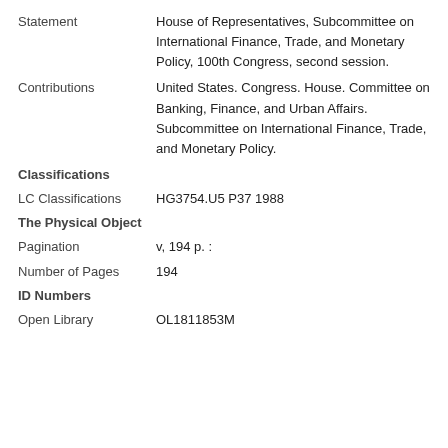Statement | House of Representatives, Subcommittee on International Finance, Trade, and Monetary Policy, 100th Congress, second session.
Contributions | United States. Congress. House. Committee on Banking, Finance, and Urban Affairs. Subcommittee on International Finance, Trade, and Monetary Policy.
Classifications
LC Classifications | HG3754.U5 P37 1988
The Physical Object
Pagination | v, 194 p. :
Number of Pages | 194
ID Numbers
Open Library | OL1811853M